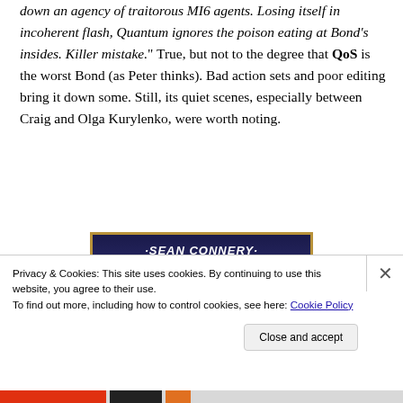down an agency of traitorous MI6 agents. Losing itself in incoherent flash, Quantum ignores the poison eating at Bond's insides. Killer mistake." True, but not to the degree that QoS is the worst Bond (as Peter thinks). Bad action sets and poor editing bring it down some. Still, its quiet scenes, especially between Craig and Olga Kurylenko, were worth noting.
[Figure (photo): Movie poster showing 'Sean Connery as James Bond in' with a dark blue/purple background and a figure's head silhouette, framed with a golden/tan border]
Privacy & Cookies: This site uses cookies. By continuing to use this website, you agree to their use.
To find out more, including how to control cookies, see here: Cookie Policy
Close and accept